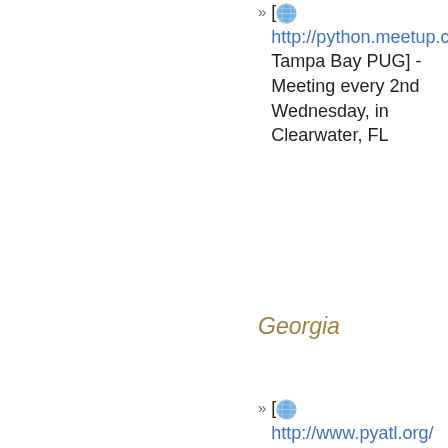[ http://python.meetup.com Tampa Bay PUG] - Meeting every 2nd Wednesday, in Clearwater, FL
Georgia
[ http://www.pyatl.org/ PyAtl] Atlanta, Georgia Python User Group
Illinois
[ http://www.chipy.org/ ChiPy - The Chicago Python Users Group]
[